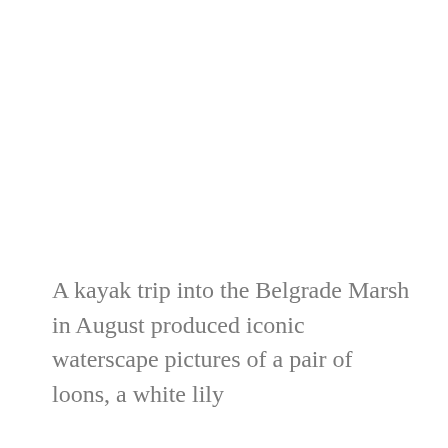A kayak trip into the Belgrade Marsh in August produced iconic waterscape pictures of a pair of loons, a white lily